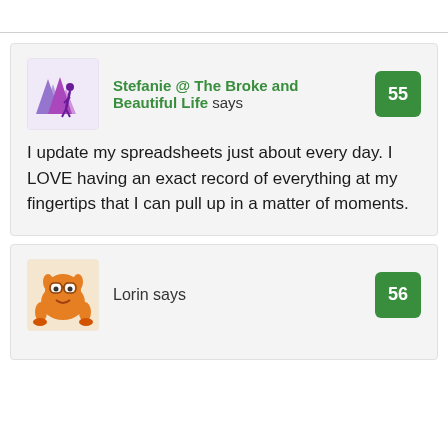Stefanie @ The Broke and Beautiful Life says
I update my spreadsheets just about every day. I LOVE having an exact record of everything at my fingertips that I can pull up in a matter of moments.
Lorin says